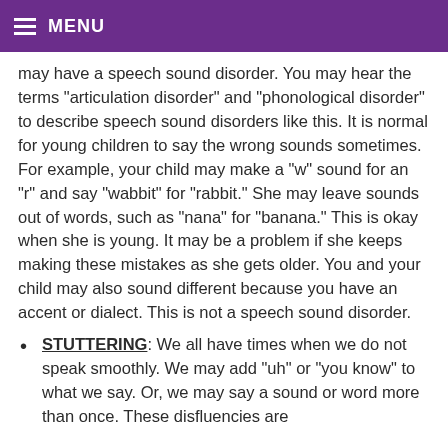MENU
may have a speech sound disorder. You may hear the terms "articulation disorder" and "phonological disorder" to describe speech sound disorders like this. It is normal for young children to say the wrong sounds sometimes. For example, your child may make a "w" sound for an "r" and say "wabbit" for "rabbit." She may leave sounds out of words, such as "nana" for "banana." This is okay when she is young. It may be a problem if she keeps making these mistakes as she gets older. You and your child may also sound different because you have an accent or dialect. This is not a speech sound disorder.
STUTTERING: We all have times when we do not speak smoothly. We may add "uh" or "you know" to what we say. Or, we may say a sound or word more than once. These disfluencies are